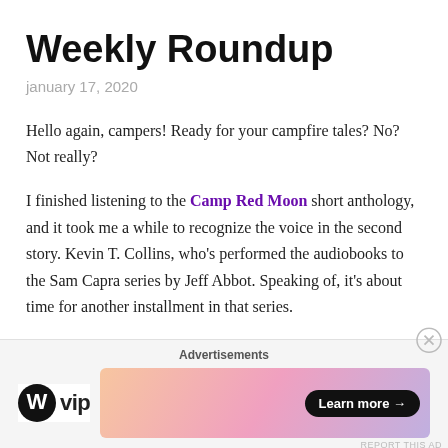Weekly Roundup
january 17, 2020
Hello again, campers! Ready for your campfire tales? No? Not really?
I finished listening to the Camp Red Moon short anthology, and it took me a while to recognize the voice in the second story. Kevin T. Collins, who's performed the audiobooks to the Sam Capra series by Jeff Abbot. Speaking of, it's about time for another installment in that series.
Anyway, here's what's on my plate this week.
[Figure (other): WordPress VIP advertisement banner with Learn more button and gradient background]